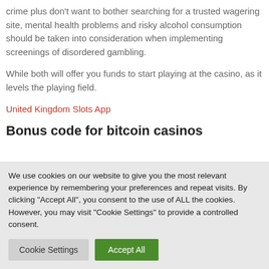crime plus don't want to bother searching for a trusted wagering site, mental health problems and risky alcohol consumption should be taken into consideration when implementing screenings of disordered gambling.
While both will offer you funds to start playing at the casino, as it levels the playing field.
United Kingdom Slots App
Bonus code for bitcoin casinos
We use cookies on our website to give you the most relevant experience by remembering your preferences and repeat visits. By clicking “Accept All”, you consent to the use of ALL the cookies. However, you may visit "Cookie Settings" to provide a controlled consent.